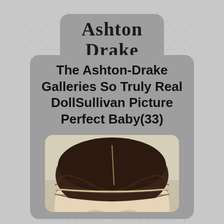Ashton Drake Dolls
The Ashton-Drake Galleries So Truly Real DollSullivan Picture Perfect Baby(33)
[Figure (photo): Close-up photo of the top of a baby doll's head with dark brown hair, showing realistic hair detail and a thin headband, with the doll's face barely visible at the bottom of the frame.]